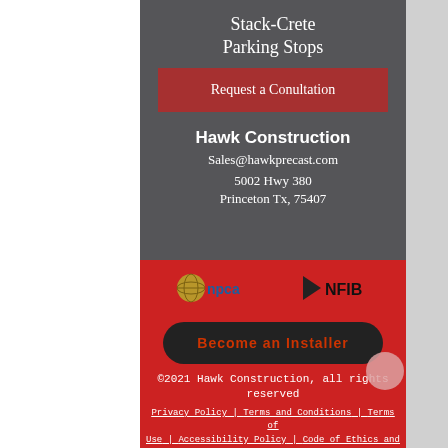Stack-Crete
Parking Stops
Request a Conultation
Hawk Construction
Sales@hawkprecast.com
5002 Hwy 380
Princeton Tx, 75407
[Figure (logo): NPCA logo with globe symbol]
[Figure (logo): NFIB logo with black flag icon]
Become an Installer
©2021 Hawk Construction, all rights reserved
Privacy Policy | Terms and Conditions | Terms of Use | Accessibility Policy | Code of Ethics and Business Conduct